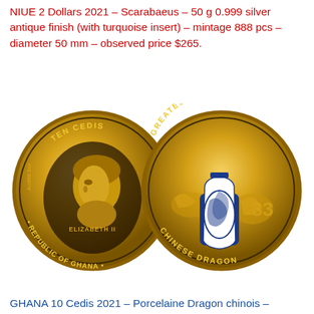NIUE 2 Dollars 2021 – Scarabaeus – 50 g 0.999 silver antique finish (with turquoise insert) – mintage 888 pcs – diameter 50 mm – observed price $265.
[Figure (photo): Two gold coins side by side. Left coin: Republic of Ghana obverse showing Elizabeth II portrait, Au999 2oz, TEN CEDIS, 2021. Right coin: Greatest Porcelain reverse showing a blue and white Chinese Dragon vase.]
GHANA 10 Cedis 2021 – Porcelaine Dragon chinois –